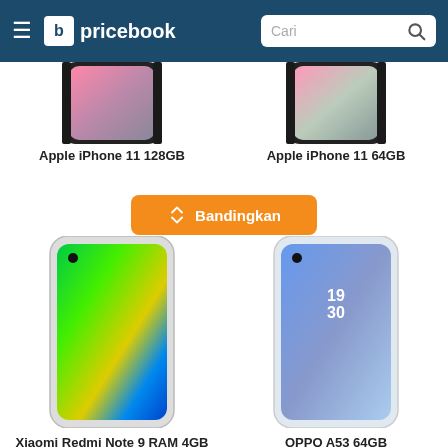pricebook — Cari
[Figure (photo): Apple iPhone 11 128GB product image (partially cropped at top)]
Apple iPhone 11 128GB
[Figure (photo): Apple iPhone 11 64GB product image (partially cropped at top)]
Apple iPhone 11 64GB
Bandingkan
[Figure (photo): Xiaomi Redmi Note 9 RAM 4GB ROM 64GB product image showing colorful abstract wallpaper]
Xiaomi Redmi Note 9 RAM 4GB ROM 64GB
[Figure (photo): OPPO A53 64GB product image showing blue gradient wallpaper with time display 19:30]
OPPO A53 64GB